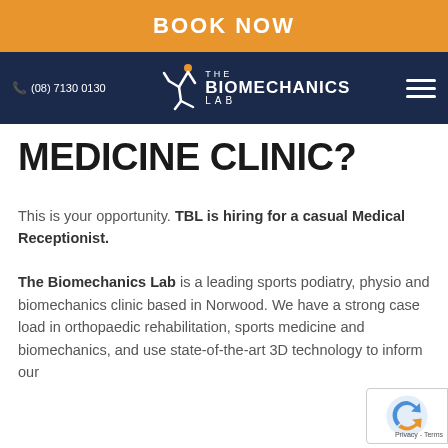BOOK NOW
☎ (08) 7130 0130  THE BIOMECHANICS LAB
MEDICINE CLINIC?
This is your opportunity. TBL is hiring for a casual Medical Receptionist.
The Biomechanics Lab is a leading sports podiatry, physio and biomechanics clinic based in Norwood. We have a strong case load in orthopaedic rehabilitation, sports medicine and biomechanics, and use state-of-the-art 3D technology to inform our